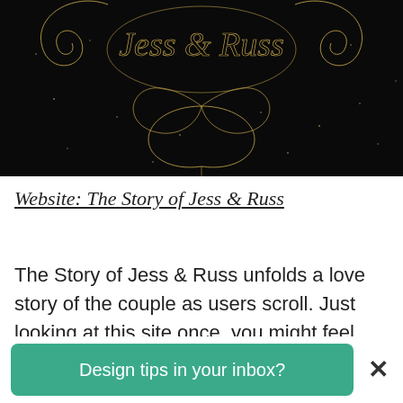[Figure (screenshot): Dark/black background website screenshot showing decorative gold calligraphic swirl design with the text 'Jess & Russ' in ornate script lettering, with gold flourishes and small star/dot details on the black background.]
Website: The Story of Jess & Russ
The Story of Jess & Russ unfolds a love story of the couple as users scroll. Just looking at this site once, you might feel like you've been
Design tips in your inbox?